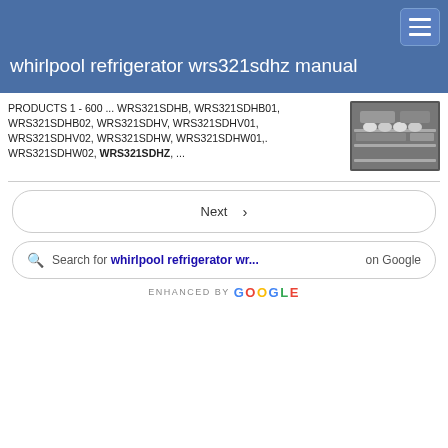whirlpool refrigerator wrs321sdhz manual
PRODUCTS 1 - 600 ... WRS321SDHB, WRS321SDHB01, WRS321SDHB02, WRS321SDHV, WRS321SDHV01, WRS321SDHV02, WRS321SDHW, WRS321SDHW01,. WRS321SDHW02, WRS321SDHZ, ...
[Figure (photo): Photo of refrigerator interior shelves, silver/metallic appearance]
Next >
Search for whirlpool refrigerator wr... on Google
ENHANCED BY Google